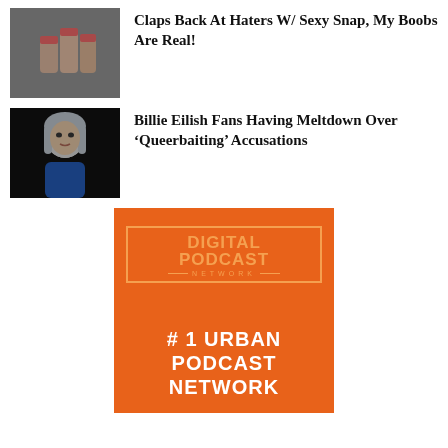[Figure (photo): Close-up photo of a hand with painted nails on a textured surface]
Claps Back At Haters W/ Sexy Snap, My Boobs Are Real!
[Figure (photo): Photo of Billie Eilish with silver/white hair and a blue top against dark background]
Billie Eilish Fans Having Meltdown Over ‘Queerbaiting’ Accusations
[Figure (logo): Digital Podcast Network advertisement - orange background with logo and text: # 1 URBAN PODCAST NETWORK]